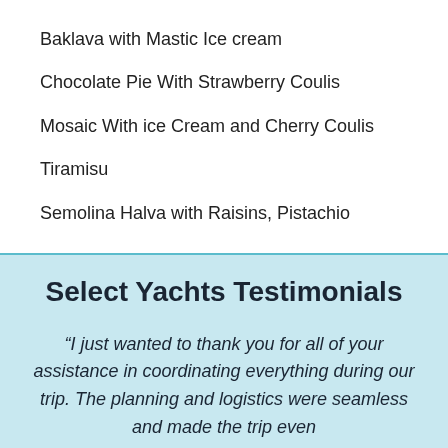Baklava with Mastic Ice cream
Chocolate Pie With Strawberry Coulis
Mosaic With ice Cream and Cherry Coulis
Tiramisu
Semolina Halva with Raisins, Pistachio
Select Yachts Testimonials
“I just wanted to thank you for all of your assistance in coordinating everything during our trip. The planning and logistics were seamless and made the trip even